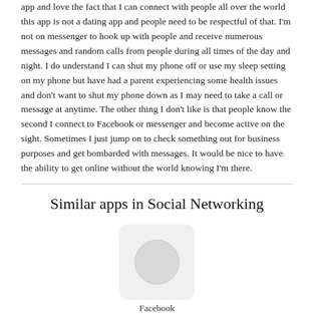app and love the fact that I can connect with people all over the world this app is not a dating app and people need to be respectful of that. I'm not on messenger to hook up with people and receive numerous messages and random calls from people during all times of the day and night. I do understand I can shut my phone off or use my sleep setting on my phone but have had a parent experiencing some health issues and don't want to shut my phone down as I may need to take a call or message at anytime. The other thing I don't like is that people know the second I connect to Facebook or messenger and become active on the sight. Sometimes I just jump on to check something out for business purposes and get bombarded with messages. It would be nice to have the ability to get online without the world knowing I'm there.
Similar apps in Social Networking
[Figure (illustration): App icon placeholder: rounded rectangle with light gray background and a gray circle in the center]
Facebook